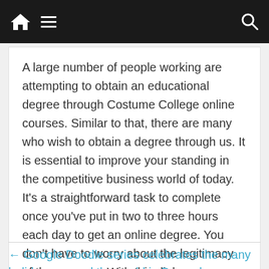Navigation bar with home icon, menu icon, and search icon
A large number of people working are attempting to obtain an educational degree through Costume College online courses. Similar to that, there are many who wish to obtain a degree through us. It is essential to improve your standing in the competitive business world of today. It’s a straightforward task to complete once you’ve put in two to three hours each day to get an online degree. You don’t have to worry about the legitimacy of the program. With this diploma, you can easily advance your career.
← Google Doodle series celebrates the many holidays around the world in December